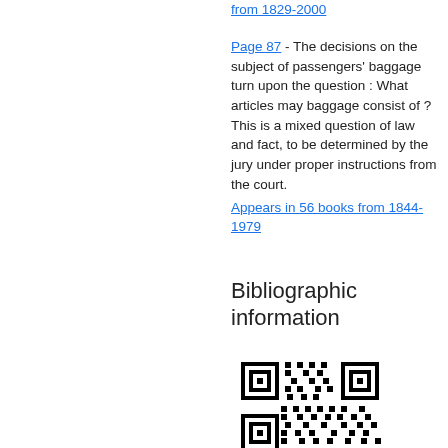from 1829-2000
Page 87 - The decisions on the subject of passengers' baggage turn upon the question : What articles may baggage consist of ? This is a mixed question of law and fact, to be determined by the jury under proper instructions from the court.
Appears in 56 books from 1844-1979
Bibliographic information
[Figure (other): QR code]